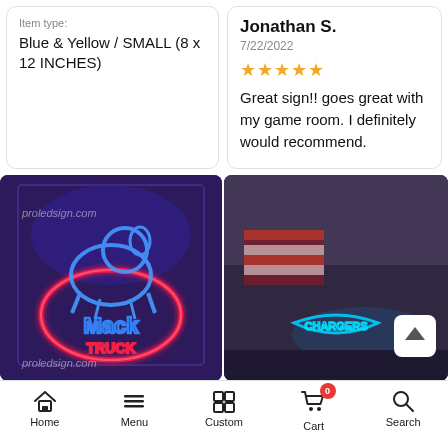Item type:
Blue & Yellow / SMALL (8 x 12 INCHES)
Jonathan S.
7/22/2022
★★★★★
Great sign!! goes great with my game room. I definitely would recommend.
[Figure (photo): LED neon sign of Mack Truck logo with blue and red neon lighting on dark background, watermarked with proledsign.com]
[Figure (photo): LED neon Chargers sign glowing blue in a room with American flag visible, with up arrow navigation button]
White & Green & Red / 17.7 x 13.6 INCHES
1
ADD TO CART
Home   Menu   Custom   Cart 0   Search